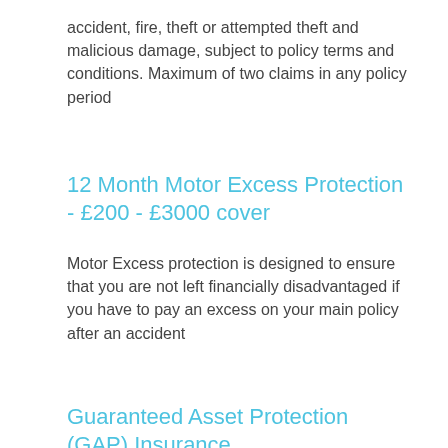accident, fire, theft or attempted theft and malicious damage, subject to policy terms and conditions. Maximum of two claims in any policy period
12 Month Motor Excess Protection - £200 - £3000 cover
Motor Excess protection is designed to ensure that you are not left financially disadvantaged if you have to pay an excess on your main policy after an accident
Guaranteed Asset Protection (GAP) Insurance
GAP Insurance will, in the event of your vehicle being declared a total loss, pay the difference between the market value of the vehicle at the point of total loss and the purchase price paid for the vehicle at the